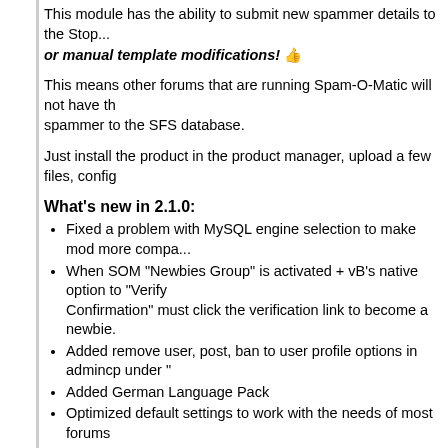This module has the ability to submit new spammer details to the Stop... or manual template modifications! 👍
This means other forums that are running Spam-O-Matic will not have the spammer to the SFS database.
Just install the product in the product manager, upload a few files, config...
What's new in 2.1.0:
Fixed a problem with MySQL engine selection to make mod more compa...
When SOM "Newbies Group" is activated + vB's native option to "Verify Confirmation" must click the verification link to become a newbie.
Added remove user, post, ban to user profile options in admincp under "...
Added German Language Pack
Optimized default settings to work with the needs of most forums
Added a new coupon for GlowHost (available after you submit a spamm...
Several other performance tuning options
Feature List:
Optional Public Statistics. Show off to the world how many bad guys y...
Auto-Moderation moderates posts that have links, bad words, and other...
Auto-Moderation ignores your RSS posts.
Registration / Denial Logs available from Admincp > Statistics and Logs...
Optional "Newbies" Manager! After registration, newly registered users your regular "Registered Users" group. Newbies will graduate to your Re...
Auto-Submit Spammers from the moderation tools menu on each postbi...
Remove Posts, threads, PMs, Calendar Events from your spammer in o...
Shows other users who signed up with the same IP. (Cleaning Spammer...